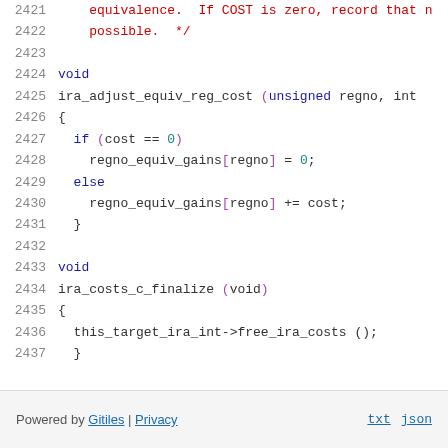Source code viewer showing lines 2421-2437 of C source code including ira_adjust_equiv_reg_cost and ira_costs_c_finalize functions
Powered by Gitiles | Privacy   txt   json